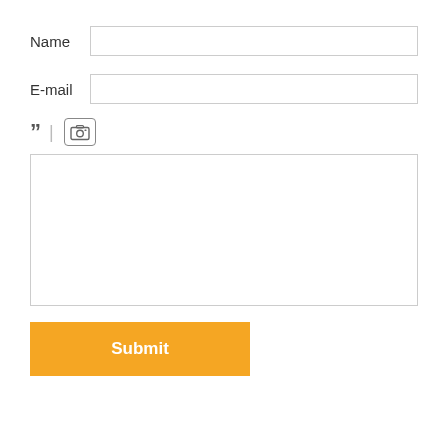Name
E-mail
[Figure (other): Toolbar with blockquote icon (closing double quotation marks) and a camera icon]
Submit